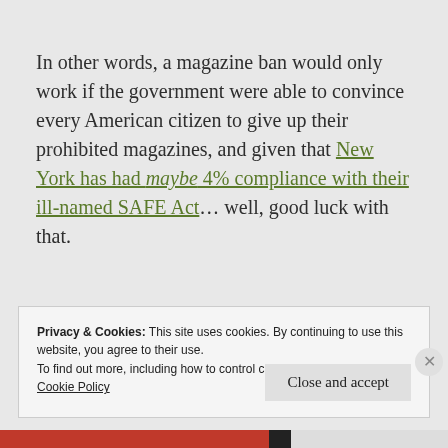In other words, a magazine ban would only work if the government were able to convince every American citizen to give up their prohibited magazines, and given that New York has had maybe 4% compliance with their ill-named SAFE Act… well, good luck with that.
Privacy & Cookies: This site uses cookies. By continuing to use this website, you agree to their use.
To find out more, including how to control cookies, see here:
Cookie Policy